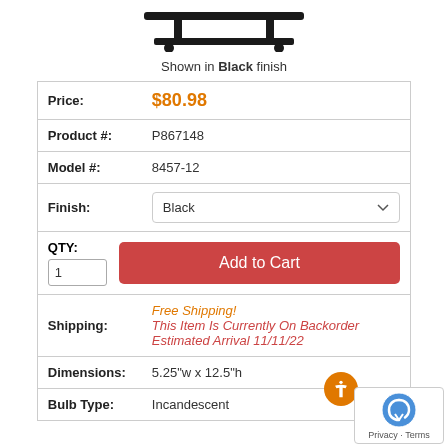[Figure (photo): Product silhouette image shown partially at top of page]
Shown in Black finish
| Price: | $80.98 |
| Product #: | P867148 |
| Model #: | 8457-12 |
| Finish: | Black (dropdown) |
| QTY: 1 | Add to Cart |
| Shipping: | Free Shipping!
This Item Is Currently On Backorder Estimated Arrival 11/11/22 |
| Dimensions: | 5.25"w x 12.5"h |
| Bulb Type: | Incandescent |